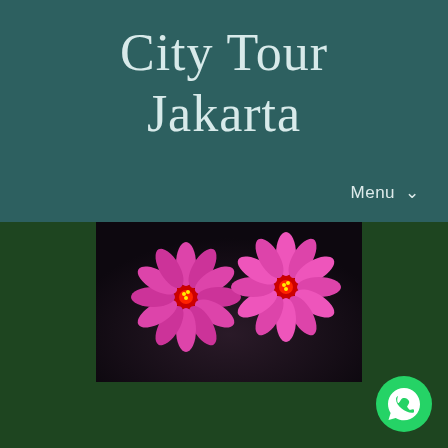City Tour Jakarta
Menu ▾
[Figure (photo): Decorative floral arrangement with pink and red flowers against a dark background, showing two ornamental flower clusters]
[Figure (logo): WhatsApp icon - green circle with white phone/speech bubble logo]